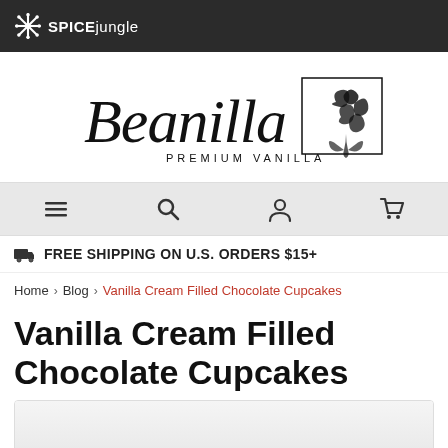SPICE jungle
[Figure (logo): Beanilla Premium Vanilla logo with cursive script and floral illustration]
[Figure (other): Navigation bar with hamburger menu, search, account, and cart icons]
FREE SHIPPING ON U.S. ORDERS $15+
Home > Blog > Vanilla Cream Filled Chocolate Cupcakes
Vanilla Cream Filled Chocolate Cupcakes
[Figure (photo): Partial image of vanilla cream filled chocolate cupcakes]